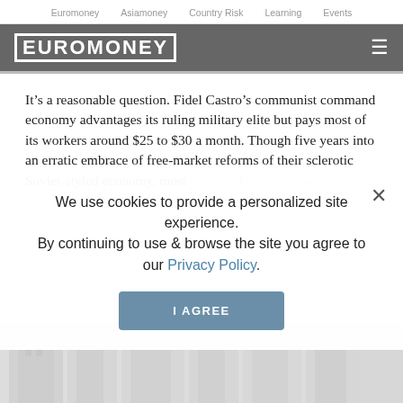Euromoney   Asiamoney   Country Risk   Learning   Events
EUROMONEY
It’s a reasonable question. Fidel Castro’s communist command economy advantages its ruling military elite but pays most of its workers around $25 to $30 a month. Though five years into an erratic embrace of free-market reforms of their sclerotic Soviet-styled economy, most Cubans don’t yet have much call – or money – for ba...
We use cookies to provide a personalized site experience.
By continuing to use & browse the site you agree to our Privacy Policy.
I AGREE